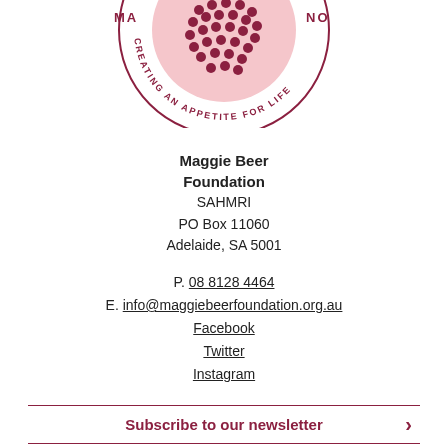[Figure (logo): Maggie Beer Foundation circular logo with pomegranate image and text 'CREATING AN APPETITE FOR LIFE' around the border, partially cropped at the top]
Maggie Beer Foundation
SAHMRI
PO Box 11060
Adelaide, SA 5001
P. 08 8128 4464
E. info@maggiebeerfoundation.org.au
Facebook
Twitter
Instagram
Subscribe to our newsletter